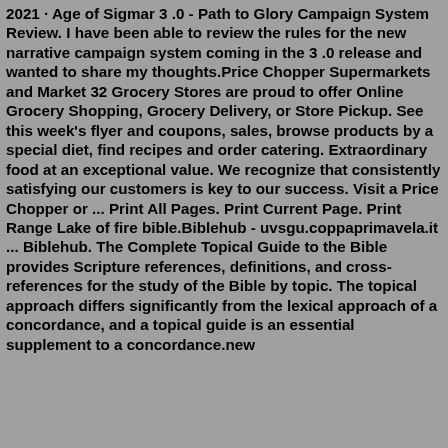2021 · Age of Sigmar 3 .0 - Path to Glory Campaign System Review. I have been able to review the rules for the new narrative campaign system coming in the 3 .0 release and wanted to share my thoughts.Price Chopper Supermarkets and Market 32 Grocery Stores are proud to offer Online Grocery Shopping, Grocery Delivery, or Store Pickup. See this week's flyer and coupons, sales, browse products by a special diet, find recipes and order catering. Extraordinary food at an exceptional value. We recognize that consistently satisfying our customers is key to our success. Visit a Price Chopper or ... Print All Pages. Print Current Page. Print Range Lake of fire bible.Biblehub - uvsgu.coppaprimavela.it ... Biblehub. The Complete Topical Guide to the Bible provides Scripture references, definitions, and cross-references for the study of the Bible by topic. The topical approach differs significantly from the lexical approach of a concordance, and a topical guide is an essential supplement to a concordance.new